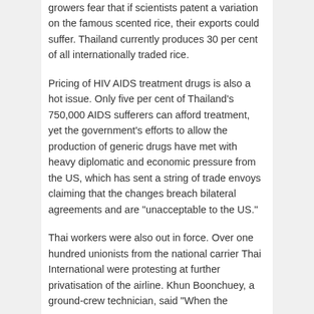growers fear that if scientists patent a variation on the famous scented rice, their exports could suffer. Thailand currently produces 30 per cent of all internationally traded rice.
Pricing of HIV AIDS treatment drugs is also a hot issue. Only five per cent of Thailand's 750,000 AIDS sufferers can afford treatment, yet the government's efforts to allow the production of generic drugs have met with heavy diplomatic and economic pressure from the US, which has sent a string of trade envoys claiming that the changes breach bilateral agreements and are "unacceptable to the US."
Thai workers were also out in force. Over one hundred unionists from the national carrier Thai International were protesting at further privatisation of the airline. Khun Boonchuey, a ground-crew technician, said "When the